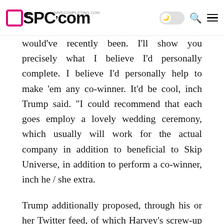ASPC.com — site navigation header with logo, dark mode toggle, search icon, and menu icon
would've recently been. I'll show you precisely what I believe I'd personally complete. I believe I'd personally help to make 'em any co-winner. It'd be cool, inch Trump said. "I could recommend that each goes employ a lovely wedding ceremony, which usually will work for the actual company in addition to beneficial to Skip Universe, in addition to perform a co-winner, inch he / she extra.
Trump additionally proposed, through his or her Twitter feed, of which Harvey's screw-up would not possess transpired if he / she has been still concerned. "Very unhappy precisely what transpired last night in the Skip Universe Pageant, inch he / she tweeted. "I sold that a few months in the past for any history-selling price. This would not have transpired!